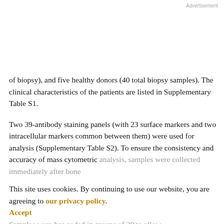Advertisement
of biopsy), and five healthy donors (40 total biopsy samples). The clinical characteristics of the patients are listed in Supplementary Table S1.
Two 39-antibody staining panels (with 23 surface markers and two intracellular markers common between them) were used for analysis (Supplementary Table S2). To ensure the consistency and accuracy of mass cytometric analysis, samples were collected immediately after bone marrow aspiration (less than 4 hours), stored at 4°C prior to fixation, and frozen at -80°C until the time of analysis. Samples were bar-coded in groups of 20 to allow
This site uses cookies. By continuing to use our website, you are agreeing to our privacy policy. Accept